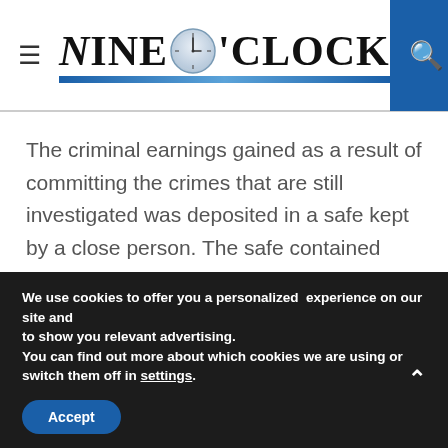Nine O'Clock
The criminal earnings gained as a result of committing the crimes that are still investigated was deposited in a safe kept by a close person. The safe contained RON 1,323,850, USD 90,000,
We use cookies to offer you a personalized experience on our site and to show you relevant advertising. You can find out more about which cookies we are using or switch them off in settings.